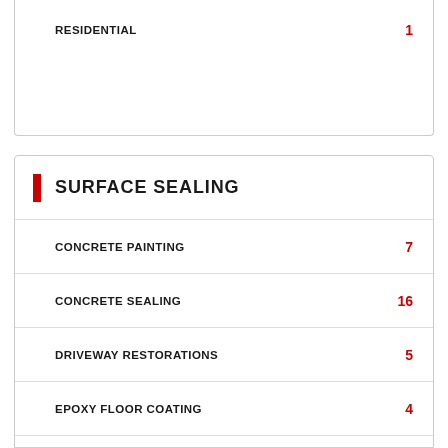RESIDENTIAL  1
SURFACE SEALING
CONCRETE PAINTING  7
CONCRETE SEALING  16
DRIVEWAY RESTORATIONS  5
EPOXY FLOOR COATING  4
GARAGE FLOOR PAINTING  1